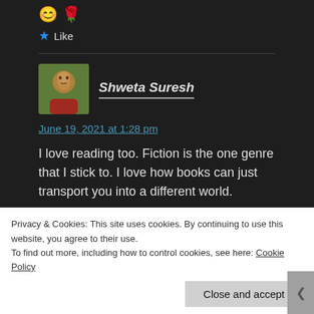😊 🌹
★ Like
Shweta Suresh
June 19, 2021 at 1:28 pm
I love reading too. Fiction is the one genre that I stick to. I love how books can just transport you into a different world.
Privacy & Cookies: This site uses cookies. By continuing to use this website, you agree to their use.
To find out more, including how to control cookies, see here: Cookie Policy
Close and accept